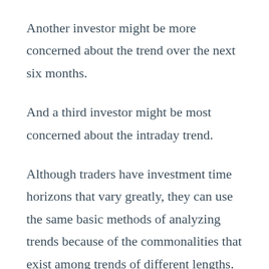Another investor might be more concerned about the trend over the next six months.
And a third investor might be most concerned about the intraday trend.
Although traders have investment time horizons that vary greatly, they can use the same basic methods of analyzing trends because of the commonalities that exist among trends of different lengths.